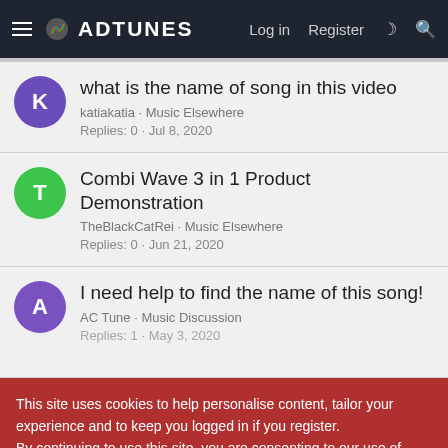ADTUNES — Log in  Register
what is the name of song in this video — katiakatia · Music Elsewhere — Replies: 0 · Jul 8, 2020
Combi Wave 3 in 1 Product Demonstration — TheBlackCatRei · Music Elsewhere — Replies: 0 · Jun 21, 2020
I need help to find the name of this song! — AC Tune · Music Discussion — Replies: 1 · May 3, 2020
This site uses cookies to help personalise content, tailor your experience and to keep you logged in if you register.
By continuing to use this site, you are consenting to our use of cookies.